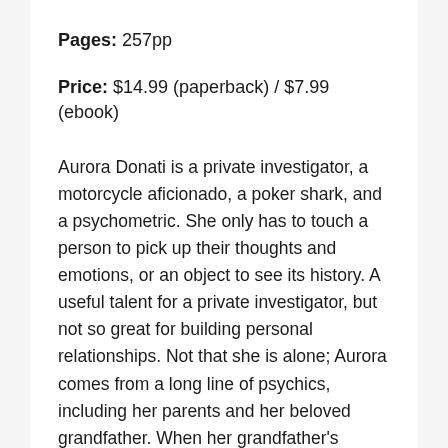Pages: 257pp
Price: $14.99 (paperback) / $7.99 (ebook)
Aurora Donati is a private investigator, a motorcycle aficionado, a poker shark, and a psychometric. She only has to touch a person to pick up their thoughts and emotions, or an object to see its history. A useful talent for a private investigator, but not so great for building personal relationships. Not that she is alone; Aurora comes from a long line of psychics, including her parents and her beloved grandfather. When her grandfather’s closest friend dies of seemingly natural causes, Aurora is drawn into an international conspiracy